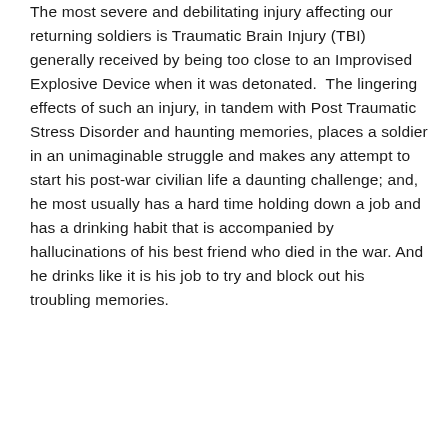The most severe and debilitating injury affecting our returning soldiers is Traumatic Brain Injury (TBI) generally received by being too close to an Improvised Explosive Device when it was detonated.  The lingering effects of such an injury, in tandem with Post Traumatic Stress Disorder and haunting memories, places a soldier in an unimaginable struggle and makes any attempt to start his post-war civilian life a daunting challenge; and, he most usually has a hard time holding down a job and has a drinking habit that is accompanied by hallucinations of his best friend who died in the war. And he drinks like it is his job to try and block out his troubling memories.